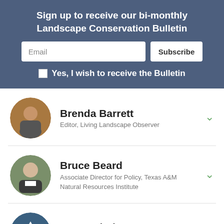Sign up to receive our bi-monthly Landscape Conservation Bulletin
Email
Subscribe
Yes, I wish to receive the Bulletin
Brenda Barrett
Editor, Living Landscape Observer
Bruce Beard
Associate Director for Policy, Texas A&M Natural Resources Institute
Bray Beltrán
Conservation & Equity Director, Heart of